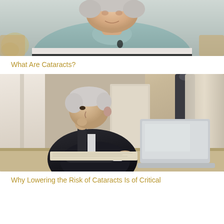[Figure (photo): Older man in a teal/grey polo shirt with a stripe across the chest, seated indoors]
What Are Cataracts?
[Figure (photo): Older man in a dark suit sitting at a desk looking at a laptop, hand raised to chin in a thoughtful pose]
Why Lowering the Risk of Cataracts Is of Critical